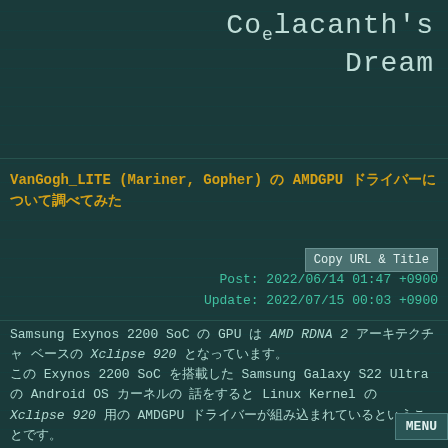Coelacanth's Dream
VanGogh_LITE (Mariner, Gopher) の AMDGPU ドライバーについて調べてみた
Copy URL & Title
Post: 2022/06/14 01:47 +0900
Update: 2022/07/15 00:03 +0900
Samsung Exynos 2200 SoC の GPU は AMD RDNA 2 アーキテクチャ ベースの Xclipse 920 となっています。この Exynos 2200 SoC を搭載した Samsung Galaxy S22 Ultra の Android OS カーネルの話をすると Linux Kernel の Xclipse 920 用の AMDGPU ドライバーが組み込まれているということです。ちなみに Samsung Open Source で公開されているSM-S908B のカーネルのソースコードで確認しています S908BXXU2AVEH です。
この AMDGPU ドライバーのソースは drivers/gpu/drm/amd/ にあり、Xclipse 920 を示す AMDGPU ドライバーは drivers/gpu/drm/